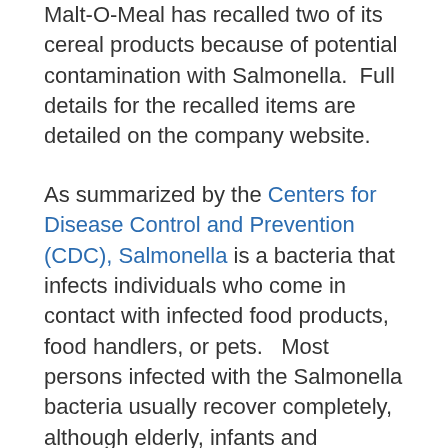Malt-O-Meal has recalled two of its cereal products because of potential contamination with Salmonella.  Full details for the recalled items are detailed on the company website.
As summarized by the Centers for Disease Control and Prevention (CDC), Salmonella is a bacteria that infects individuals who come in contact with infected food products, food handlers, or pets.   Most persons infected with the Salmonella bacteria usually recover completely, although elderly, infants and individuals with weakened immune systems are prone to more serious and longer term health problems.